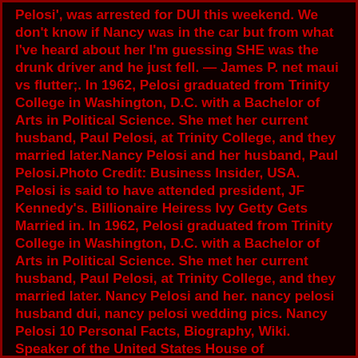Pelosi', was arrested for DUI this weekend. We don't know if Nancy was in the car but from what I've heard about her I'm guessing SHE was the drunk driver and he just fell. — James P. net maui vs flutter;. In 1962, Pelosi graduated from Trinity College in Washington, D.C. with a Bachelor of Arts in Political Science. She met her current husband, Paul Pelosi, at Trinity College, and they married later.Nancy Pelosi and her husband, Paul Pelosi.Photo Credit: Business Insider, USA. Pelosi is said to have attended president, JF Kennedy's. Billionaire Heiress Ivy Getty Gets Married in. In 1962, Pelosi graduated from Trinity College in Washington, D.C. with a Bachelor of Arts in Political Science. She met her current husband, Paul Pelosi, at Trinity College, and they married later. Nancy Pelosi and her. nancy pelosi husband dui, nancy pelosi wedding pics. Nancy Pelosi 10 Personal Facts, Biography, Wiki. Speaker of the United States House of Representatives Born: March 26, 1940 (age 82 years), Baltimore, Maryland, United States Height: 1.64 m Spouse: Paul Pelosi (m. 1963) Office: Representative (D-CA 12th District) since 2013, Nov 19, 2021. As the...